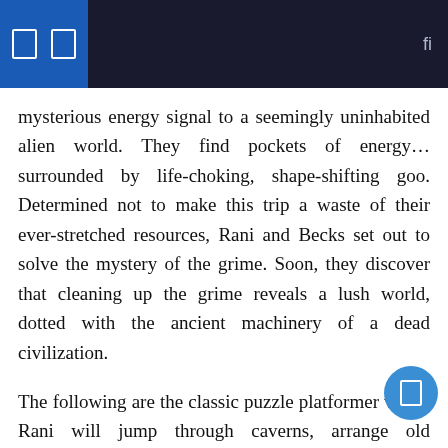mysterious energy signal to a seemingly uninhabited alien world. They find pockets of energy… surrounded by life-choking, shape-shifting goo. Determined not to make this trip a waste of their ever-stretched resources, Rani and Becks set out to solve the mystery of the grime. Soon, they discover that cleaning up the grime reveals a lush world, dotted with the ancient machinery of a dead civilization.
The following are the classic puzzle platformer verbs. Rani will jump through caverns, arrange old machines to make a path, and fight monsters. Attached to Rani's missing arm, lost to the negligence of a foreman in a space mine, is a gigantic suction hand. Pumpkin, as Rani calls it, can absorb minerals and plants to craft upgrades, cling to walls, and suck up mud. It's a classic video game multi-tool and a perfect accompaniment to Rani's warm conversation with